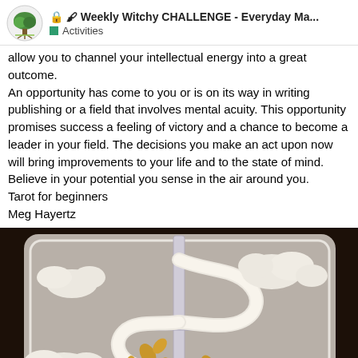🔒 🖌 Weekly Witchy CHALLENGE - Everyday Ma... Activities
allow you to channel your intellectual energy into a great outcome.
An opportunity has come to you or is on its way in writing publishing or a field that involves mental acuity. This opportunity promises success a feeling of victory and a chance to become a leader in your field. The decisions you make an act upon now will bring improvements to your life and to the state of mind. Believe in your potential you sense in the air around you.
Tarot for beginners
Meg Hayertz
[Figure (photo): A tarot card illustration showing a sword (or wand) with a serpentine ribbon or snake-like form wrapped around a vertical blade, with stylized clouds and gold leaf shapes on a grey-toned background. Dark background surrounds a white-bordered tarot card.]
39 / 72